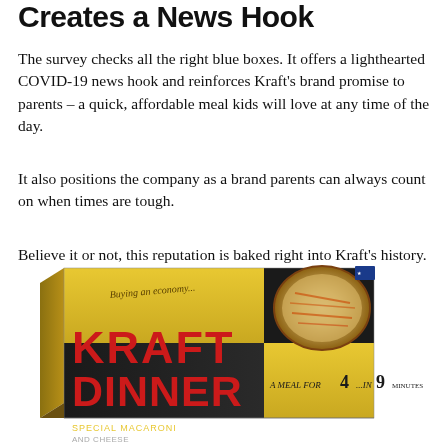Creates a News Hook
The survey checks all the right blue boxes. It offers a lighthearted COVID-19 news hook and reinforces Kraft's brand promise to parents – a quick, affordable meal kids will love at any time of the day.
It also positions the company as a brand parents can always count on when times are tough.
Believe it or not, this reputation is baked right into Kraft's history.
[Figure (photo): A vintage Kraft Dinner box with yellow and black checkerboard design, featuring the text 'KRAFT DINNER' in large red letters, 'A MEAL FOR 4...IN 9 MINUTES', 'SPECIAL MACARONI' and a photo of a casserole dish with macaroni and cheese on the box.]